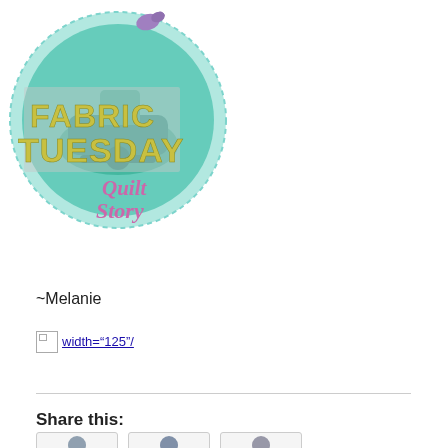[Figure (logo): Fabric Tuesday Quilt Story logo: a teal circle with a sewing machine silhouette in the center, a purple bird on top, dotted border around the circle, bold yellow-green text 'FABRIC TUESDAY' on a grey rectangle overlay, and pink script text 'Quilt Story' below]
~Melanie
width="125"/
Share this: